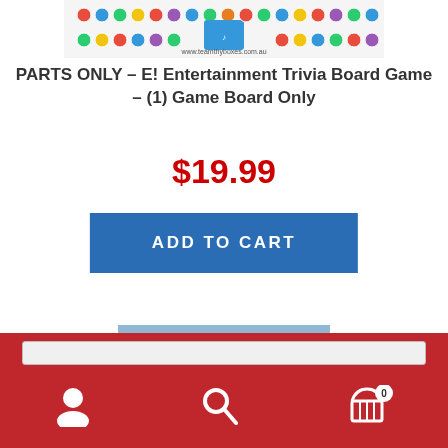[Figure (photo): Top portion of a board game showing colorful circles/icons on a white background with website text visible]
PARTS ONLY – E! Entertainment Trivia Board Game – (1) Game Board Only
$19.99
[Figure (other): Blue ADD TO CART button]
[Figure (photo): Green board game playing piece (pawn) on blue background]
Search bar and navigation icons: user, search, cart (0)